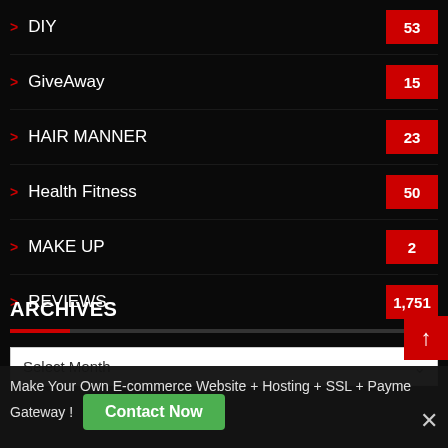DIY 53
GiveAway 15
HAIR MANNER 23
Health Fitness 50
MAKE UP 2
REVIEWS 1,751
ARCHIVES
Select Month
Make Your Own E-commerce Website + Hosting + SSL + Payment Gateway !
Contact Now